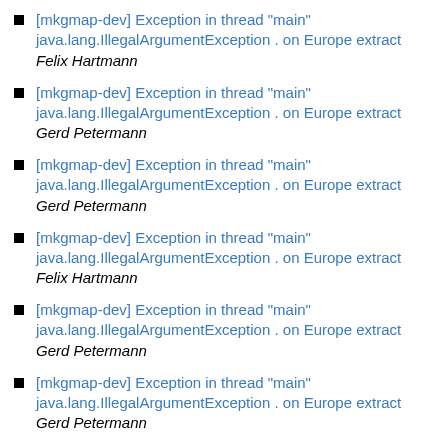[mkgmap-dev] Exception in thread "main" java.lang.IllegalArgumentException . on Europe extract
Felix Hartmann
[mkgmap-dev] Exception in thread "main" java.lang.IllegalArgumentException . on Europe extract
Gerd Petermann
[mkgmap-dev] Exception in thread "main" java.lang.IllegalArgumentException . on Europe extract
Gerd Petermann
[mkgmap-dev] Exception in thread "main" java.lang.IllegalArgumentException . on Europe extract
Felix Hartmann
[mkgmap-dev] Exception in thread "main" java.lang.IllegalArgumentException . on Europe extract
Gerd Petermann
[mkgmap-dev] Exception in thread "main" java.lang.IllegalArgumentException . on Europe extract
Gerd Petermann
[mkgmap-dev] Exception in thread "main" java.lang.IllegalArgumentException . on Europe extract
Felix Hartmann